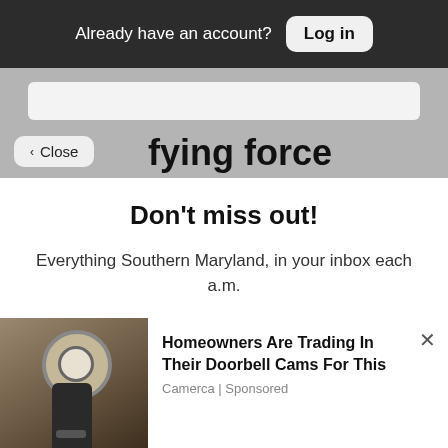Already have an account? Log in
fying force
Don't miss out!
Everything Southern Maryland, in your inbox each a.m.
Free Newsletters 1
Daily Digest
A roundup of the latest news
[Figure (screenshot): Advertisement banner showing a security camera light fixture with text: Homeowners Are Trading In Their Doorbell Cams For This. Source: Camerca | Sponsored]